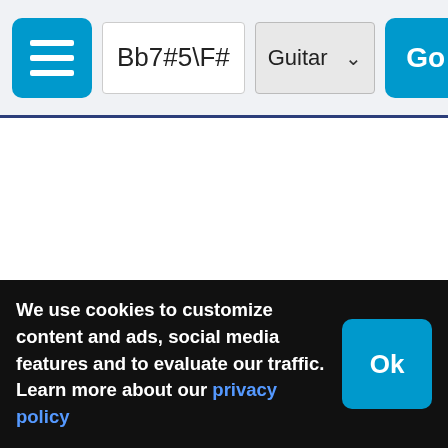Bb7#5\F# | Guitar | Go
Bb7#5/F# Guitar Chord Charts
We use cookies to customize content and ads, social media features and to evaluate our traffic. Learn more about our privacy policy